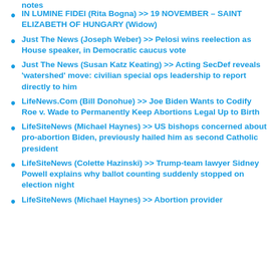notes
IN LUMINE FIDEI (Rita Bogna) >> 19 NOVEMBER – SAINT ELIZABETH OF HUNGARY (Widow)
Just The News (Joseph Weber) >> Pelosi wins reelection as House speaker, in Democratic caucus vote
Just The News (Susan Katz Keating) >> Acting SecDef reveals 'watershed' move: civilian special ops leadership to report directly to him
LifeNews.Com (Bill Donohue) >> Joe Biden Wants to Codify Roe v. Wade to Permanently Keep Abortions Legal Up to Birth
LifeSiteNews (Michael Haynes) >> US bishops concerned about pro-abortion Biden, previously hailed him as second Catholic president
LifeSiteNews (Colette Hazinski) >> Trump-team lawyer Sidney Powell explains why ballot counting suddenly stopped on election night
LifeSiteNews (Michael Haynes) >> Abortion provider